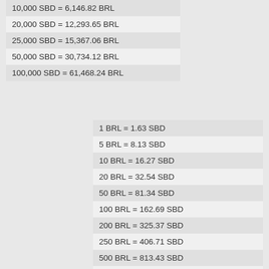| 10,000 SBD = 6,146.82 BRL |
| 20,000 SBD = 12,293.65 BRL |
| 25,000 SBD = 15,367.06 BRL |
| 50,000 SBD = 30,734.12 BRL |
| 100,000 SBD = 61,468.24 BRL |
| 1 BRL = 1.63 SBD |
| 5 BRL = 8.13 SBD |
| 10 BRL = 16.27 SBD |
| 20 BRL = 32.54 SBD |
| 50 BRL = 81.34 SBD |
| 100 BRL = 162.69 SBD |
| 200 BRL = 325.37 SBD |
| 250 BRL = 406.71 SBD |
| 500 BRL = 813.43 SBD |
| 1,000 BRL = 1,626.86 SBD |
| 2,000 BRL = 3,253.71 SBD |
| 2,500 BRL = 4,067.14 SBD |
| 5,000 BRL = 8,134.28 SBD |
| 10,000 BRL = 16,268.56 SBD |
| 50,000 BRL = 81,342.82 SBD |